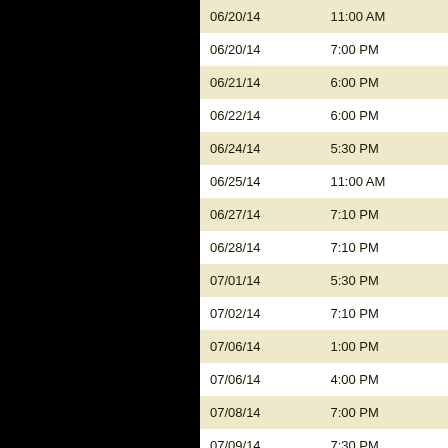| Date | Time |
| --- | --- |
| 06/20/14 | 11:00 AM |
| 06/20/14 | 7:00 PM |
| 06/21/14 | 6:00 PM |
| 06/22/14 | 6:00 PM |
| 06/24/14 | 5:30 PM |
| 06/25/14 | 11:00 AM |
| 06/27/14 | 7:10 PM |
| 06/28/14 | 7:10 PM |
| 07/01/14 | 5:30 PM |
| 07/02/14 | 7:10 PM |
| 07/06/14 | 1:00 PM |
| 07/06/14 | 4:00 PM |
| 07/08/14 | 7:00 PM |
| 07/09/14 | 7:30 PM |
| 07/11/14 | 11:00 AM |
| 07/11/14 | 7:00 PM |
| 07/12/14 | 7:10 PM |
| 07/13/14 | 6:00 PM |
| 07/16/14 | 7:00 PM |
| 07/17/14 | 5:30 PM |
| 07/18/14 | 7:10 PM |
| 07/19/14 | 7:10 PM |
| 07/20/14 | 6:00 PM |